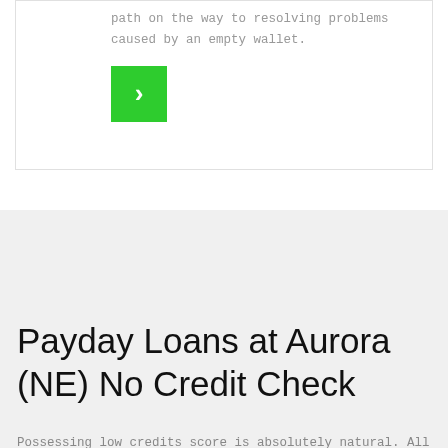path on the way to resolving problems caused by an empty wallet.
[Figure (other): Green button with right chevron arrow (›)]
Payday Loans at Aurora (NE) No Credit Check
Possessing low credits score is absolutely natural. All of